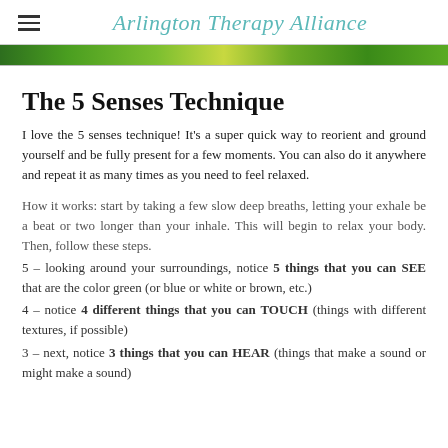Arlington Therapy Alliance
[Figure (photo): Green and yellow foliage banner image]
The 5 Senses Technique
I love the 5 senses technique! It's a super quick way to reorient and ground yourself and be fully present for a few moments. You can also do it anywhere and repeat it as many times as you need to feel relaxed.
How it works: start by taking a few slow deep breaths, letting your exhale be a beat or two longer than your inhale. This will begin to relax your body. Then, follow these steps.
5 – looking around your surroundings, notice 5 things that you can SEE that are the color green (or blue or white or brown, etc.)
4 – notice 4 different things that you can TOUCH (things with different textures, if possible)
3 – next, notice 3 things that you can HEAR (things that make a sound or might make a sound)